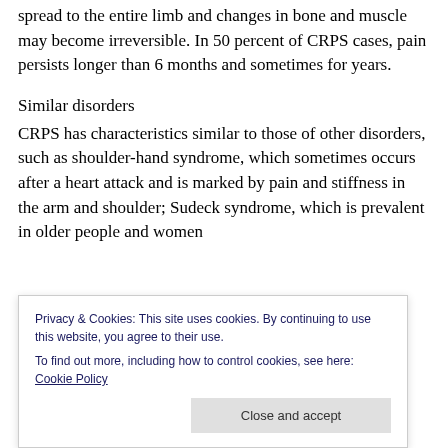treatment is delayed, however, the disorder can quickly spread to the entire limb and changes in bone and muscle may become irreversible. In 50 percent of CRPS cases, pain persists longer than 6 months and sometimes for years.
Similar disorders
CRPS has characteristics similar to those of other disorders, such as shoulder-hand syndrome, which sometimes occurs after a heart attack and is marked by pain and stiffness in the arm and shoulder; Sudeck syndrome, which is prevalent in older people and women
shoulder and hand.
Privacy & Cookies: This site uses cookies. By continuing to use this website, you agree to their use.
To find out more, including how to control cookies, see here: Cookie Policy